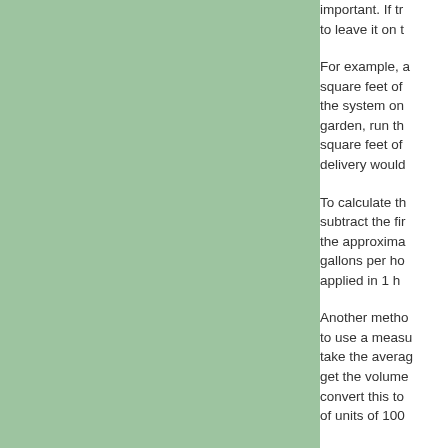[Figure (illustration): Green rectangular panel occupying the left portion of the page]
important. If tr to leave it on t
For example, a square feet of the system on garden, run th square feet of delivery would
To calculate th subtract the fir the approxima gallons per ho applied in 1 h
Another metho to use a measu take the averag get the volume convert this to of units of 100